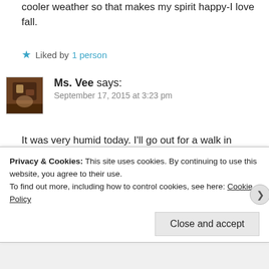cooler weather so that makes my spirit happy-I love fall.
Liked by 1 person
Ms. Vee says:
September 17, 2015 at 3:23 pm
It was very humid today. I'll go out for a walk in about 10 minutes. It gets dark earlier. Fall is a nice time of year, but I don't like the cold. This is going to be my first winter in Maryland, I think it will be very cold. I'm in between mountains, the view
Privacy & Cookies: This site uses cookies. By continuing to use this website, you agree to their use.
To find out more, including how to control cookies, see here: Cookie Policy
Close and accept